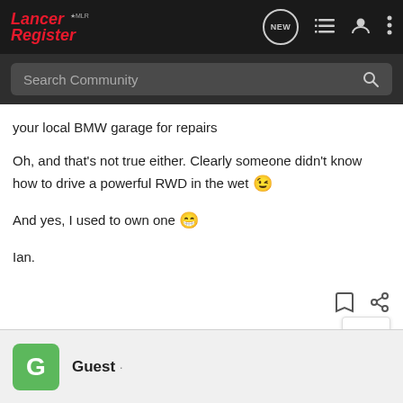Lancer Register MLR — Navigation bar with NEW, list, user, and more icons
Search Community
your local BMW garage for repairs
Oh, and that's not true either. Clearly someone didn't know how to drive a powerful RWD in the wet 😉
And yes, I used to own one 😁
Ian.
Guest ·